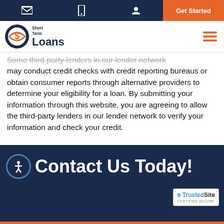Short Term Loans - Get Started
Some third party lenders in our lender network may conduct credit checks with credit reporting bureaus or obtain consumer reports through alternative providers to determine your eligibility for a loan. By submitting your information through this website, you are agreeing to allow the third-party lenders in our lender network to verify your information and check your credit.
Contact Us Today!